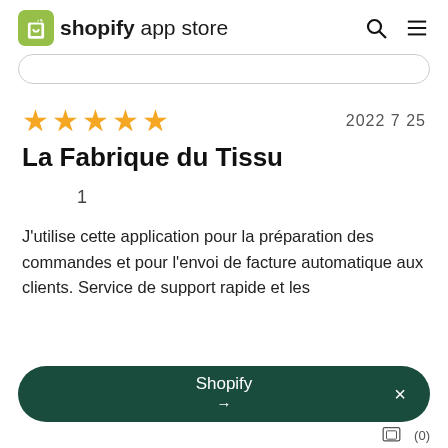shopify app store
2022 7 25
La Fabrique du Tissu
1
J'utilise cette application pour la préparation des commandes et pour l'envoi de facture automatique aux clients. Service de support rapide et les
Shopify →